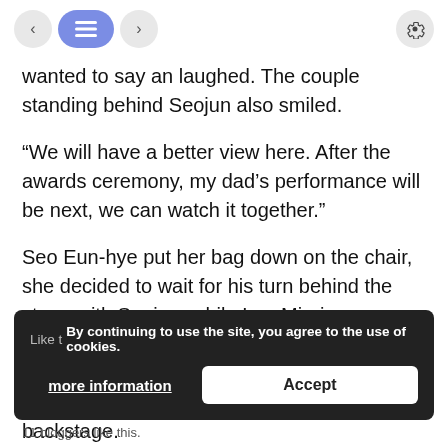< [list] > [settings]
wanted to say an laughed. The couple standing behind Seojun also smiled.
“We will have a better view here. After the awards ceremony, my dad’s performance will be next, we can watch it together.”
Seo Eun-hye put her bag down on the chair, she decided to wait for his turn behind the stage with Seojun, while Lee Min-joon decided to film Seojun’s stage among the audience. Charlie followed Seojun and stayed to watch the contest from the backstage.
By continuing to use the site, you agree to the use of cookies.
more information   Accept
11 bloggers like this.